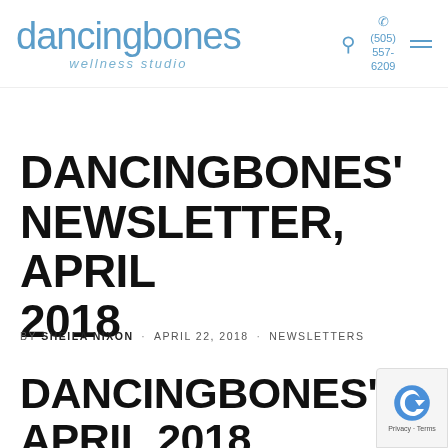dancingbones wellness studio | (505) 557-6209
DANCINGBONES' NEWSLETTER, APRIL 2018
BY SHEILA NIXON · APRIL 22, 2018 · NEWSLETTERS
DANCINGBONES' NEWSLETTER, APRIL 2018